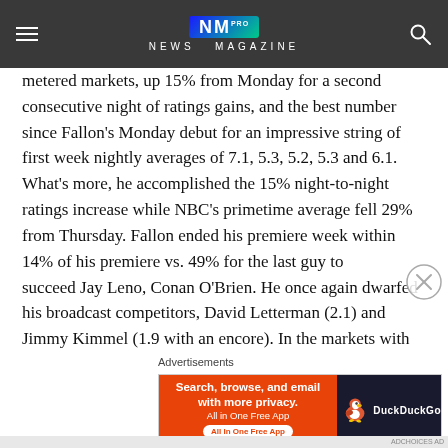NEWS MAGAZINE
metered markets, up 15% from Monday for a second consecutive night of ratings gains, and the best number since Fallon's Monday debut for an impressive string of first week nightly averages of 7.1, 5.3, 5.2, 5.3 and 6.1. What's more, he accomplished the 15% night-to-night ratings increase while NBC's primetime average fell 29% from Thursday. Fallon ended his premiere week within 14% of his premiere vs. 49% for the last guy to succeed Jay Leno, Conan O'Brien. He once again dwarfed his broadcast competitors, David Letterman (2.1) and Jimmy Kimmel (1.9 with an encore). In the markets with people meters, last night's Tonight Show posted a 3.0 rating, up 25% from Thursday and off only 12% from the Monday premiere (full week track: 3.4, 2.3, 2.2, 2.4, 3.0). Of course, Fallon had the strongest week-long primetime lead-in possible, the Olympics. He will get more help from NBC's primetime on Monday and Tuesday when The Voice returns, and will likely face its first real test on Thursday where he will have to hold his own
Advertisements
[Figure (other): DuckDuckGo advertisement banner: orange left panel with text 'Search, browse, and email with more privacy. All in One Free App', dark right panel with DuckDuckGo logo duck icon]